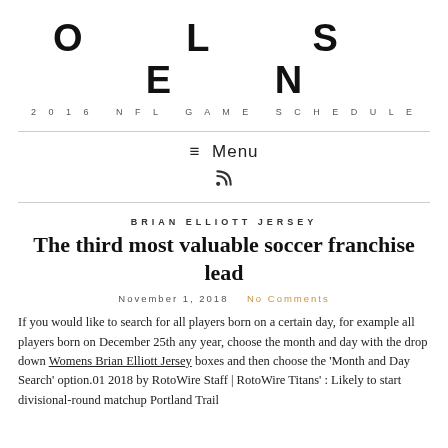OLSEN
2016 NFL Game Schedule
≡ Menu
RSS icon
Brian Elliott Jersey
The third most valuable soccer franchise lead
November 1, 2018   No Comments
If you would like to search for all players born on a certain day, for example all players born on December 25th any year, choose the month and day with the drop down Womens Brian Elliott Jersey boxes and then choose the 'Month and Day Search' option.01 2018 by RotoWire Staff | RotoWire Titans' : Likely to start divisional-round matchup Portland Trail